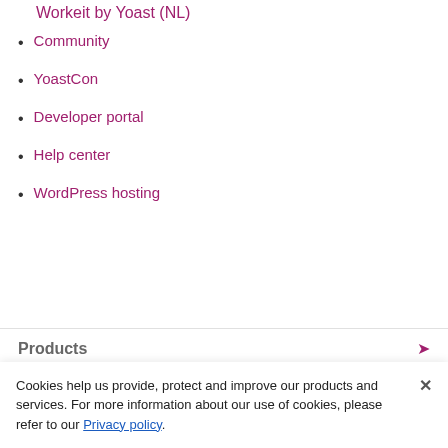Community
YoastCon
Developer portal
Help center
WordPress hosting
Products
Yoast Academy
Cookies help us provide, protect and improve our products and services. For more information about our use of cookies, please refer to our Privacy policy.